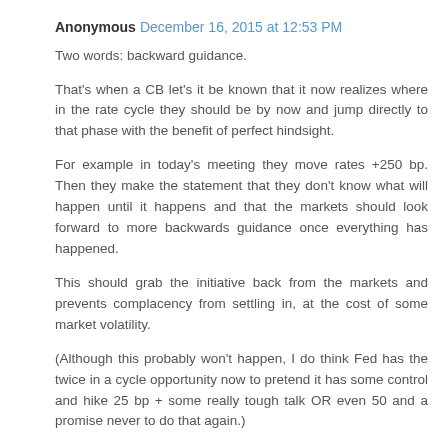Anonymous December 16, 2015 at 12:53 PM
Two words: backward guidance.
That's when a CB let's it be known that it now realizes where in the rate cycle they should be by now and jump directly to that phase with the benefit of perfect hindsight.
For example in today's meeting they move rates +250 bp. Then they make the statement that they don't know what will happen until it happens and that the markets should look forward to more backwards guidance once everything has happened.
This should grab the initiative back from the markets and prevents complacency from settling in, at the cost of some market volatility.
(Although this probably won't happen, I do think Fed has the twice in a cycle opportunity now to pretend it has some control and hike 25 bp + some really tough talk OR even 50 and a promise never to do that again.)